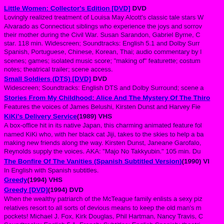Little Women: Collector's Edition [DVD] DVD
Lovingly realized treatment of Louisa May Alcott's classic tale stars W... Alvarado as Connecticut siblings who experience the joys and sorrows with their mother during the Civil War. Susan Sarandon, Gabriel Byrne, C... star. 118 min. Widescreen; Soundtracks: English 5.1 and Dolby Surr... Spanish, Portuguese, Chinese, Korean, Thai; audio commentary by D... scenes; games; isolated music score; "making of" featurette; costum... notes; theatrical trailer; scene access.
Small Soldiers (DTS) [DVD] DVD
Widescreen; Soundtracks: English DTS and Dolby Surround; scene a...
Stories From My Childhood: Alice And The Mystery Of The Thir...
Features the voices of James Belushi, Kirsten Dunst and Harvey Fie...
KiKi's Delivery Service(1989) VHS
A box-office hit in its native Japan, this charming animated feature fol... named KiKi who, with her black cat Jiji, takes to the skies to help a ba... making new friends along the way. Kirsten Dunst, Janeane Garofalo,... Reynolds supply the voices. AKA: "Majo No Takkyubin." 105 min. Du...
The Bonfire Of The Vanities (Spanish Subtitled Version)(1990) VI...
In English with Spanish subtitles.
Greedy(1994) VHS
Greedy [DVD](1994) DVD
When the wealthy patriarch of the McTeague family enlists a sexy piz... relatives resort to all sorts of devious means to keep the old man's m... pockets! Michael J. Fox, Kirk Douglas, Phil Hartman, Nancy Travis, C... Soundtracks: English 5.1, French; Subtitles: English Spanish; theatri...
Interview With The Vampire (Special Edition) [DVD](1994) DVD
This creepy adaptation of Anne Rice's popular novel stars Tom Cruis... recruits 18th-century plantation owner Louis (Brad Pitt) into his noctu... blood. Kirsten Dunst, Stephen Rea, Antonio Banderas, and Christ...